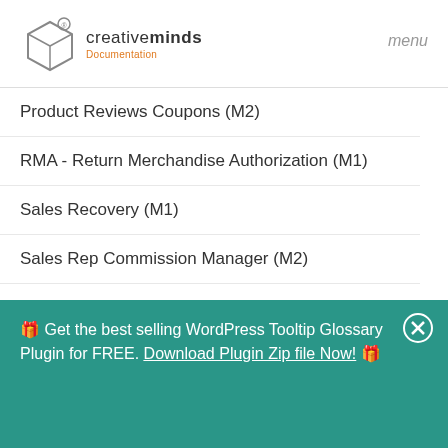creativeminds Documentation — menu
Product Reviews Coupons (M2)
RMA - Return Merchandise Authorization (M1)
Sales Recovery (M1)
Sales Rep Commission Manager (M2)
Sales Rep Commission Manager (M1)
Sales Rep Dashboard AddOn (M1)
Send Grid (M1)
Shipping Restriction (M1)
🎁 Get the best selling WordPress Tooltip Glossary Plugin for FREE. Download Plugin Zip file Now! 🎁